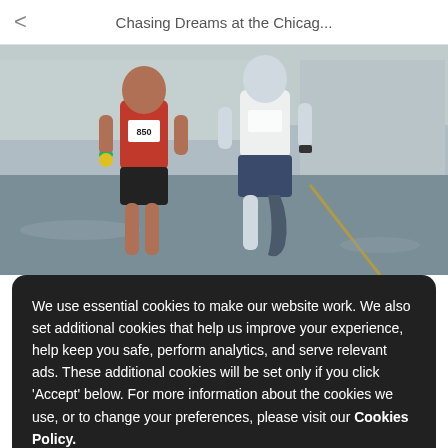Chasing Dreams at the Chicag...
[Figure (photo): Two marathon runners on a wet road — one in red tank top with race bib 850, one in white shirt with a prosthetic leg]
We use essential cookies to make our website work. We also set additional cookies that help us improve your experience, help keep you safe, perform analytics, and serve relevant ads. These additional cookies will be set only if you click 'Accept' below. For more information about the cookies we use, or to change your preferences, please visit our Cookies Policy.
langue active.